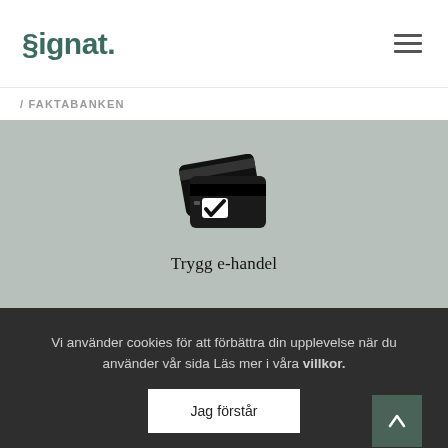§ignat.
/ FAKTABANKEN
[Figure (illustration): Icon of two credit cards with a checkmark, representing secure e-commerce. Below the icon is text reading 'Trygg e-handel'.]
Vi använder cookies för att förbättra din upplevelse när du använder vår sida Läs mer i våra villkor.
Jag förstår